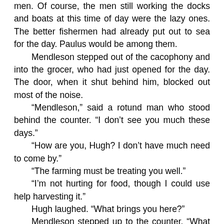men. Of course, the men still working the docks and boats at this time of day were the lazy ones. The better fishermen had already put out to sea for the day. Paulus would be among them.
Mendleson stepped out of the cacophony and into the grocer, who had just opened for the day. The door, when it shut behind him, blocked out most of the noise.
“Mendleson,” said a rotund man who stood behind the counter. “I don’t see you much these days.”
“How are you, Hugh? I don’t have much need to come by.”
“The farming must be treating you well.”
“I’m not hurting for food, though I could use help harvesting it.”
Hugh laughed. “What brings you here?”
Mendleson stepped up to the counter. “What can you tell me about Henrietta Swooth?”
“Why would I know more than you? You live across the way from her.”
“She buys her groceries from you, Hugh.”